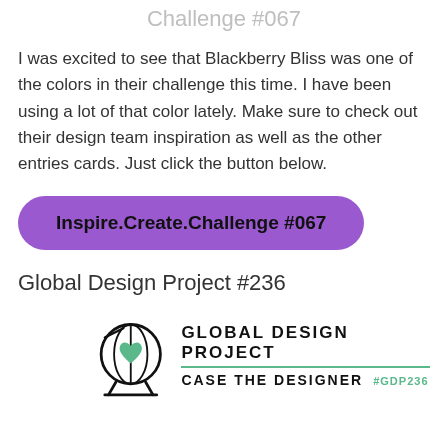Challenge #067
I was excited to see that Blackberry Bliss was one of the colors in their challenge this time. I have been using a lot of that color lately. Make sure to check out their design team inspiration as well as the other entries cards. Just click the button below.
[Figure (other): Purple rounded rectangle button with text: Inspire.Create.Challenge #067]
Global Design Project #236
[Figure (logo): Global Design Project logo: globe icon with green heart inside, next to text GLOBAL DESIGN PROJECT with green underline, and below CASE THE DESIGNER with #GDP236]